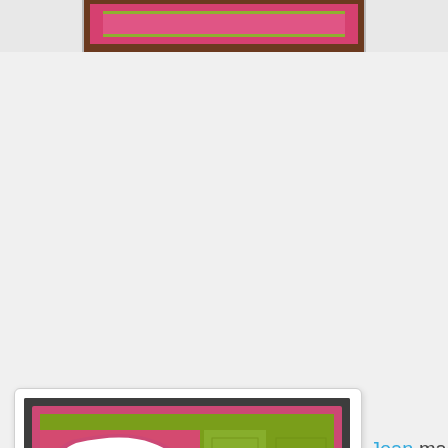[Figure (photo): Partial view of a handmade card at top of page — brown-framed card with pink and green layers visible]
[Figure (photo): Handmade Stampin' Up bird card created by Joan Otteranger. Card features pink and olive green patterned paper panels with a white decorative label shape showing an olive green bird silhouette surrounded by pink berry branches. A ribbon bow tied in olive green is visible. Bottom left corner reads 'Created by Joan Otteranger' in white text. Card sits in a white rounded-corner frame.]
Joan made this pretty SU bird card! Love the squares on the panel!